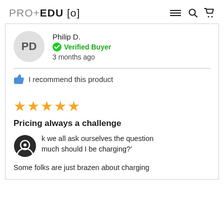PRO+EDU [o]
Philip D.
Verified Buyer
3 months ago
I recommend this product
[Figure (other): 5 gold stars rating]
Pricing always a challenge
k we all ask ourselves the question much should I be charging?'
Some folks are just brazen about charging